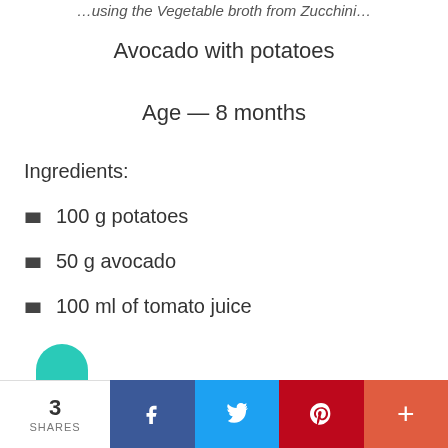…using the Vegetable broth from Zucchini…
Avocado with potatoes
Age — 8 months
Ingredients:
100 g potatoes
50 g avocado
100 ml of tomato juice
3 SHARES  Facebook  Twitter  Pinterest  More